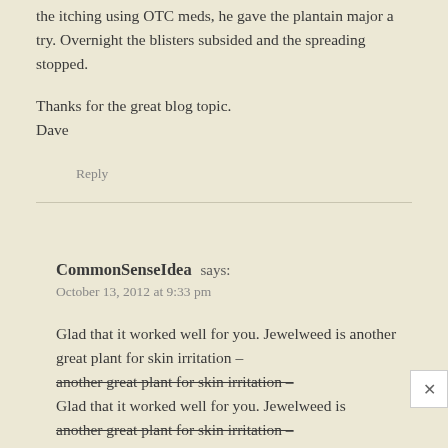the itching using OTC meds, he gave the plantain major a try. Overnight the blisters subsided and the spreading stopped.
Thanks for the great blog topic.
Dave
Reply
CommonSenseIdea says:
October 13, 2012 at 9:33 pm
Glad that it worked well for you. Jewelweed is another great plant for skin irritation – https://commonsensehome.com/jewelweed/